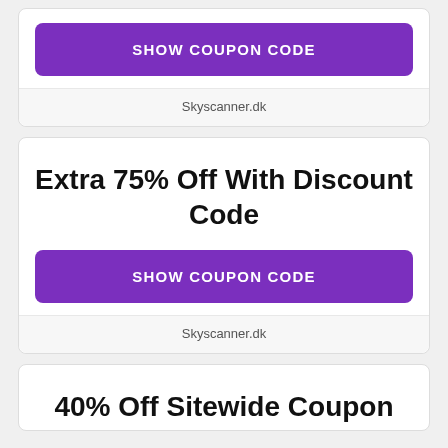[Figure (other): Purple 'SHOW COUPON CODE' button inside a white card with rounded corners]
Skyscanner.dk
Extra 75% Off With Discount Code
[Figure (other): Purple 'SHOW COUPON CODE' button inside a white card with rounded corners]
Skyscanner.dk
40% Off Sitewide Coupon